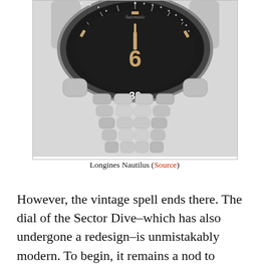[Figure (photo): Close-up photograph of a Longines Nautilus vintage dive watch showing the black bezel with '30' marking, gold indices, and a chunky steel bracelet with rounded links.]
Longines Nautilus (Source)
However, the vintage spell ends there. The dial of the Sector Dive–which has also undergone a redesign–is unmistakably modern. To begin, it remains a nod to